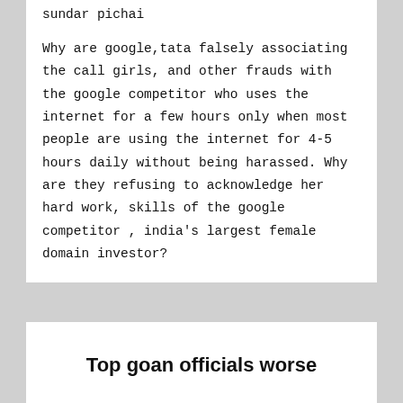sundar pichai
Why are google,tata falsely associating the call girls, and other frauds with the google competitor who uses the internet for a few hours only when most people are using the internet for 4-5 hours daily without being harassed. Why are they refusing to acknowledge her hard work, skills of the google competitor , india’s largest female domain investor?
Top goan officials worse